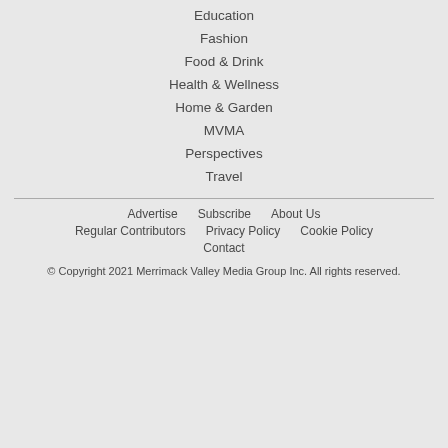Education
Fashion
Food & Drink
Health & Wellness
Home & Garden
MVMA
Perspectives
Travel
Advertise   Subscribe   About Us   Regular Contributors   Privacy Policy   Cookie Policy   Contact
© Copyright 2021 Merrimack Valley Media Group Inc. All rights reserved.